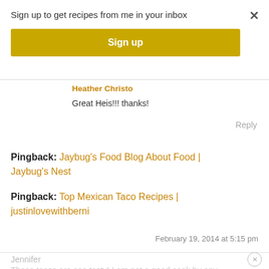Sign up to get recipes from me in your inbox
Sign up
Heather Christo
Great Heis!!! thanks!
Reply
Pingback: Jaybug's Food Blog About Food | Jaybug's Nest
Pingback: Top Mexican Taco Recipes | justinlovewithberni
February 19, 2014 at 5:15 pm
Jennifer
These tacos are soo tasty! I am not a good cook by any